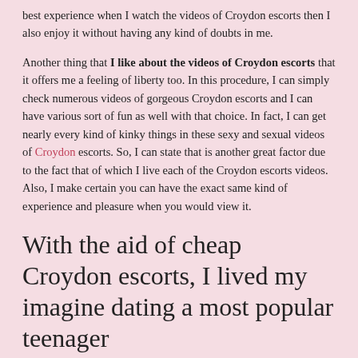best experience when I watch the videos of Croydon escorts then I also enjoy it without having any kind of doubts in me.
Another thing that I like about the videos of Croydon escorts that it offers me a feeling of liberty too. In this procedure, I can simply check numerous videos of gorgeous Croydon escorts and I can have various sort of fun as well with that choice. In fact, I can get nearly every kind of kinky things in these sexy and sexual videos of Croydon escorts. So, I can state that is another great factor due to the fact that of which I live each of the Croydon escorts videos. Also, I make certain you can have the exact same kind of experience and pleasure when you would view it.
With the aid of cheap Croydon escorts, I lived my imagine dating a most popular teenager
When I was in my teen age, I always wished to date with hottest teens of my area, however I never ever got any success in it. For this I attempted all the things that I might do, however I had no cash at that